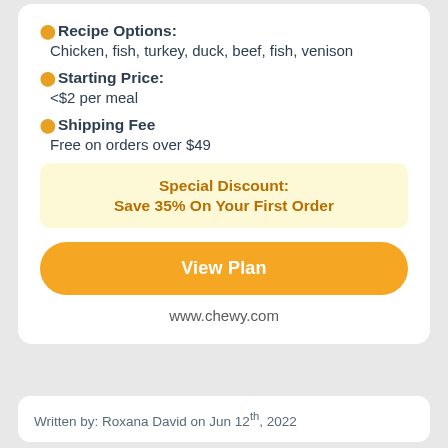🟡 Recipe Options:
Chicken, fish, turkey, duck, beef, fish, venison
🟡 Starting Price:
<$2 per meal
🟡 Shipping Fee
Free on orders over $49
Special Discount:
Save 35% On Your First Order
View Plan
www.chewy.com
Written by: Roxana David on Jun 12th, 2022